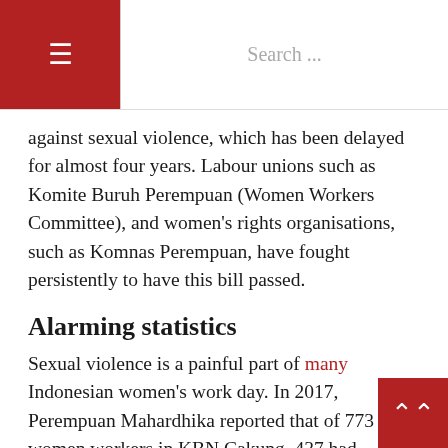≡  Search ...
against sexual violence, which has been delayed for almost four years. Labour unions such as Komite Buruh Perempuan (Women Workers Committee), and women's rights organisations, such as Komnas Perempuan, have fought persistently to have this bill passed.
Alarming statistics
Sexual violence is a painful part of many Indonesian women's work day. In 2017, Perempuan Mahardhika reported that of 773 women workers in KBN Cakung, 437 had experienced sexual violence. Of the 437 survivors, some had experienced verbal sexual abuse, others physical sexual abuse, and 252